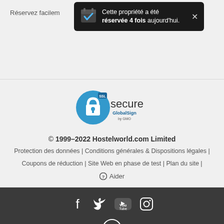Réservez facilem...
[Figure (screenshot): Dark toast notification popup: 'Cette propriété a été réservée 4 fois aujourd'hui.' with calendar icon and X close button]
[Figure (logo): SSL Secure GlobalSign by GMO badge with lock icon]
© 1999–2022 Hostelworld.com Limited
Protection des données | Conditions générales & Dispositions légales | Coupons de réduction | Site Web en phase de test | Plan du site |
Aider
[Figure (infographic): Dark footer with social media icons: Facebook, Twitter, YouTube, Instagram, and a back-to-top arrow button]
Retour en haut